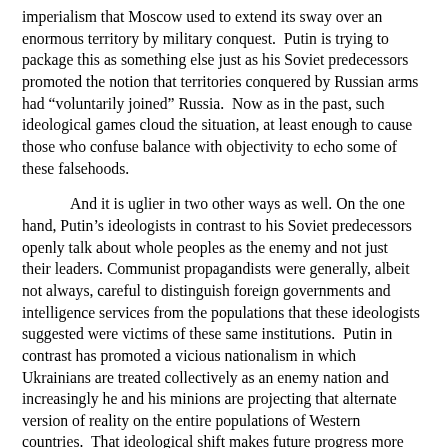imperialism that Moscow used to extend its sway over an enormous territory by military conquest.  Putin is trying to package this as something else just as his Soviet predecessors promoted the notion that territories conquered by Russian arms had “voluntarily joined” Russia.  Now as in the past, such ideological games cloud the situation, at least enough to cause those who confuse balance with objectivity to echo some of these falsehoods.
And it is uglier in two other ways as well. On the one hand, Putin’s ideologists in contrast to his Soviet predecessors openly talk about whole peoples as the enemy and not just their leaders. Communist propagandists were generally, albeit not always, careful to distinguish foreign governments and intelligence services from the populations that these ideologists suggested were victims of these same institutions.  Putin in contrast has promoted a vicious nationalism in which Ukrainians are treated collectively as an enemy nation and increasingly he and his minions are projecting that alternate version of reality on the entire populations of Western countries.  That ideological shift makes future progress more difficult.